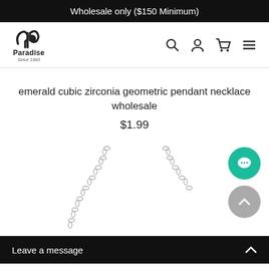Wholesale only ($150 Minimum)
[Figure (logo): Paradise Since 1993 logo with stylized 'pd' monogram]
emerald cubic zirconia geometric pendant necklace wholesale
$1.99
[Figure (photo): Product photo of a silver chain necklace with geometric cubic zirconia pendant, shown on white background]
Leave a message